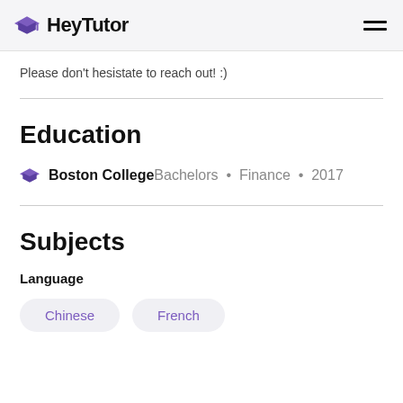HeyTutor
Please don't hesistate to reach out! :)
Education
Boston College Bachelors • Finance • 2017
Subjects
Language
Chinese   French